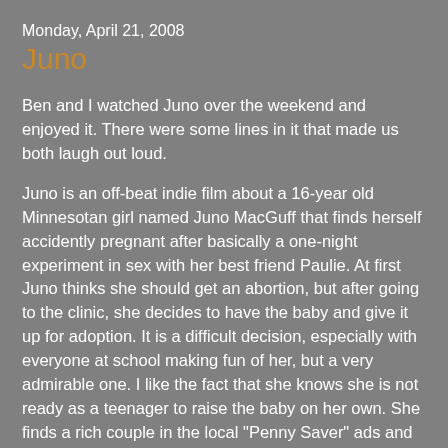Monday, April 21, 2008
Juno
Ben and I watched Juno over the weekend and enjoyed it. There were some lines in it that made us both laugh out loud.
Juno is an off-beat indie film about a 16-year old Minnesotan girl named Juno MacGuff that finds herself accidently pregnant after basically a one-night experiment in sex with her best friend Paulie. At first Juno thinks she should get an abortion, but after going to the clinic, she decides to have the baby and give it up for adoption. It is a difficult decision, especially with everyone at school making fun of her, but a very admirable one. I like the fact that she knows she is not ready as a teenager to raise the baby on her own. She finds a rich couple in the local "Penny Saver" ads and meets with them with her father. She really connects with Mark, the prospective dad, who has a lot in common with her. Vanessa is more of a cold woman, but Juno appreciates how she